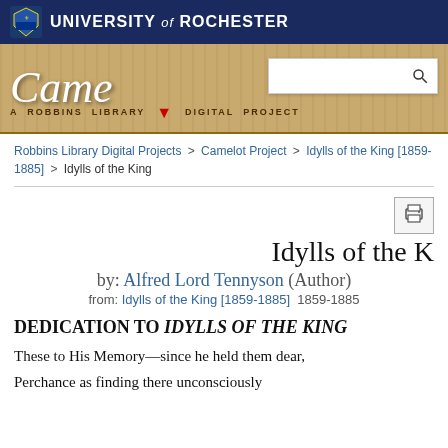[Figure (logo): University of Rochester navy header bar with shield logo and university name]
[Figure (logo): The Camelot Project - A Robbins Library Digital Project banner with search box]
Robbins Library Digital Projects > Camelot Project > Idylls of the King [1859-1885] > Idylls of the King
Idylls of the King
by: Alfred Lord Tennyson (Author)
from: Idylls of the King [1859-1885]  1859-1885
DEDICATION TO IDYLLS OF THE KING
These to His Memory—since he held them dear,
Perchance as finding there unconsciously